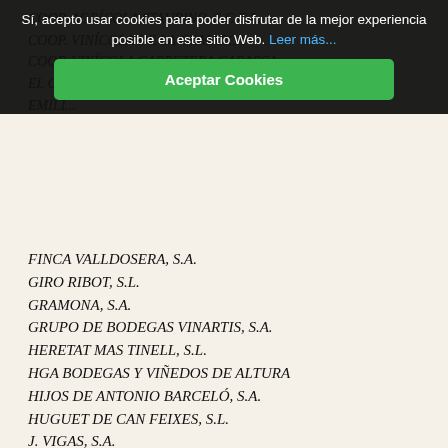[Figure (other): Cookie consent banner overlay with dark semi-transparent background, text 'Si, acepto usar cookies para poder disfrutar de la mejor experiencia posible en este sitio Web. Leer más...' and a green 'Aceptar Cookies' button]
FINCA VALLDOSERA, S.A.
GIRO RIBOT, S.L.
GRAMONA, S.A.
GRUPO DE BODEGAS VINARTIS, S.A.
HERETAT MAS TINELL, S.L.
HGA BODEGAS Y VIÑEDOS DE ALTURA
HIJOS DE ANTONIO BARCELÓ, S.A.
HUGUET DE CAN FEIXES, S.L.
J. VIGAS, S.A.
J.B. BERGER, S.A.
JANÉ VENTURA, S.A.
JOAN SARDÀ, S.A.
JULIÁN SOLER, S.A.
L'OLIVERA, CCL
LA PURISIMA BOD.COOP.DEL VINO DE YECLA
LA RIOJA ALTA, S.A.
LLOPART CAVA, S.A.
MANUEL SANCHO E HIJAS, S.A. (MONT MARÇAL